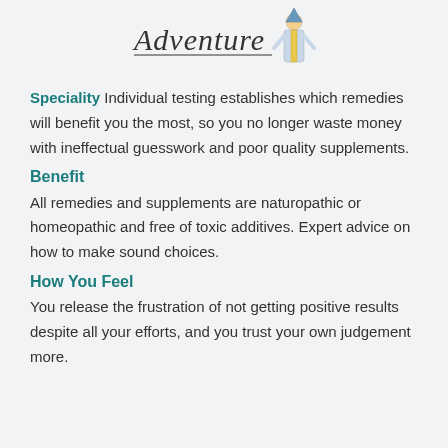[Figure (logo): Adventure logo with stylized text and illustrated figure of a person in robes]
Speciality Individual testing establishes which remedies will benefit you the most, so you no longer waste money with ineffectual guesswork and poor quality supplements.
Benefit
All remedies and supplements are naturopathic or homeopathic and free of toxic additives. Expert advice on how to make sound choices.
How You Feel
You release the frustration of not getting positive results despite all your efforts, and you trust your own judgement more.